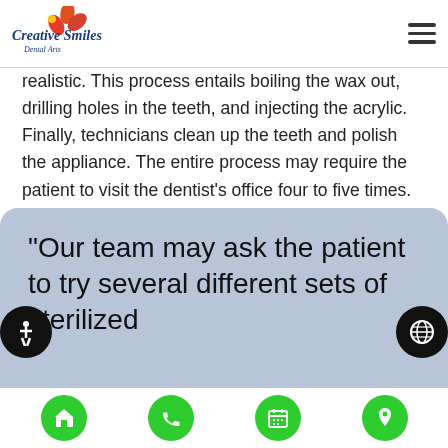Creative Smiles
realistic. This process entails boiling the wax out, drilling holes in the teeth, and injecting the acrylic. Finally, technicians clean up the teeth and polish the appliance. The entire process may require the patient to visit the dentist's office four to five times.
“Our team may ask the patient to try several different sets of sterilized
Home | Phone | Calendar | Location